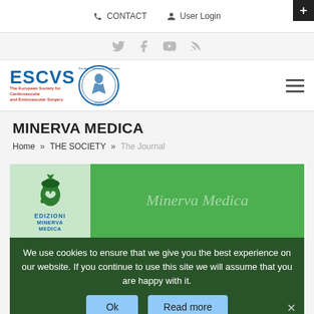CONTACT   User Login
[Figure (logo): ESCVS logo with circular emblem of European Society for Cardiovascular Surgery]
MINERVA MEDICA
Home » THE SOCIETY » The Journal
[Figure (screenshot): Minerva Medica journal card with green background, Minerva emblem, Edizioni Minerva Medica label, and italic Minerva Medica text]
We use cookies to ensure that we give you the best experience on our website. If you continue to use this site we will assume that you are happy with it.
Vi et mente is more than the motto on the corporate medallion of Minerva Medica: it is the life-spring of an intense activity that gives shape